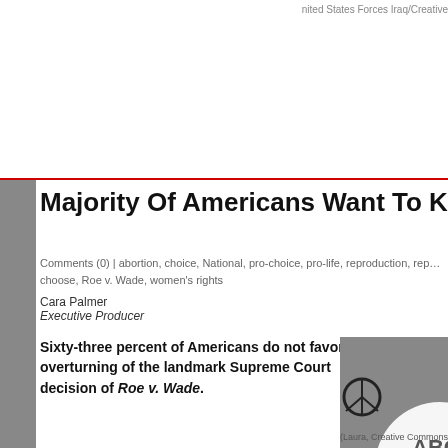nited States Forces Iraq/Creative
Majority Of Americans Want To Keep Abortion Legal
Comments (0) | abortion, choice, National, pro-choice, pro-life, reproduction, right to choose, Roe v. Wade, women's rights
Cara Palmer
Executive Producer
Sixty-three percent of Americans do not favor the overturning of the landmark Supreme Court decision of Roe v. Wade.
Read more...
[Figure (photo): Black and white photo of a crowd at a protest with sign reading 'ABO SA L' (partial), with a peace symbol visible in the background]
(Laura, Creative Commons)